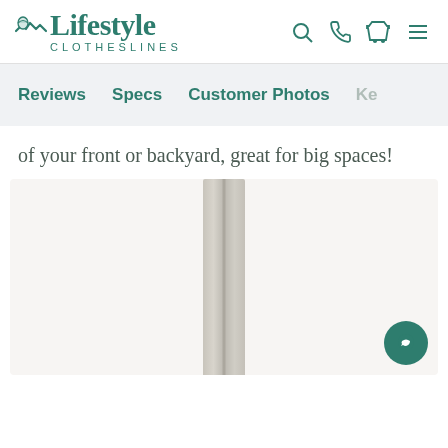[Figure (logo): Lifestyle Clotheslines logo with teal/dark green text and a small bird/clothesline icon]
Reviews   Specs   Customer Photos   Ke...
of your front or backyard, great for big spaces!
[Figure (photo): Product image of a tall vertical clothesline pole, light beige/grey color, on a light background]